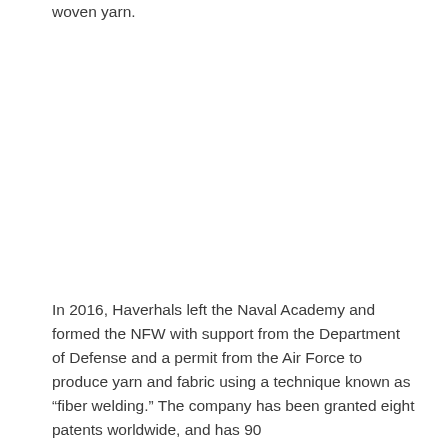woven yarn.
In 2016, Haverhals left the Naval Academy and formed the NFW with support from the Department of Defense and a permit from the Air Force to produce yarn and fabric using a technique known as “fiber welding.” The company has been granted eight patents worldwide, and has 90